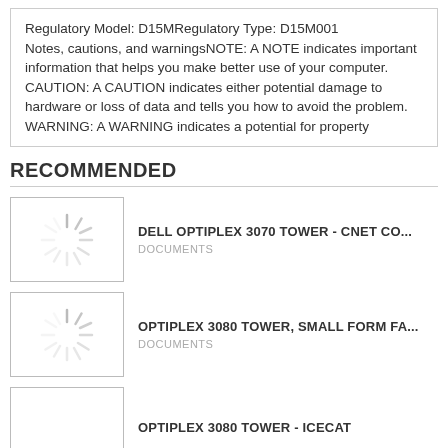Regulatory Model: D15MRegulatory Type: D15M001
Notes, cautions, and warningsNOTE: A NOTE indicates important information that helps you make better use of your computer.
CAUTION: A CAUTION indicates either potential damage to hardware or loss of data and tells you how to avoid the problem.
WARNING: A WARNING indicates a potential for property
RECOMMENDED
DELL OPTIPLEX 3070 TOWER - CNET CO...
DOCUMENTS
OPTIPLEX 3080 TOWER, SMALL FORM FA...
DOCUMENTS
OPTIPLEX 3080 TOWER - ICECAT